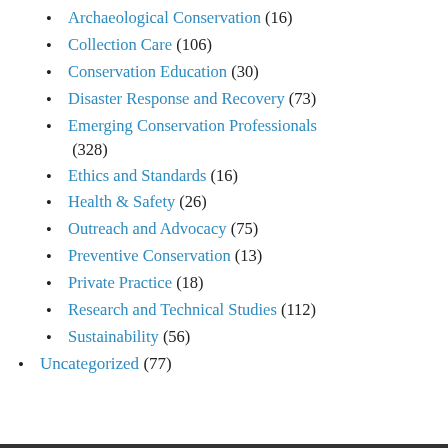Archaeological Conservation (16)
Collection Care (106)
Conservation Education (30)
Disaster Response and Recovery (73)
Emerging Conservation Professionals (328)
Ethics and Standards (16)
Health & Safety (26)
Outreach and Advocacy (75)
Preventive Conservation (13)
Private Practice (18)
Research and Technical Studies (112)
Sustainability (56)
Uncategorized (77)